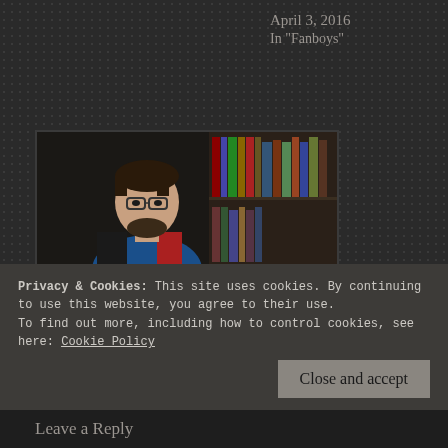April 3, 2016
In "Fanboys"
[Figure (photo): A man with glasses and a beard wearing a blue superhero t-shirt and black and red hoodie, sitting in front of a bookshelf]
Writing Assignment: “who I am and why I’m here”
February 8, 2016
In "Fanboys"
Privacy & Cookies: This site uses cookies. By continuing to use this website, you agree to their use.
To find out more, including how to control cookies, see here: Cookie Policy
Close and accept
Leave a Reply